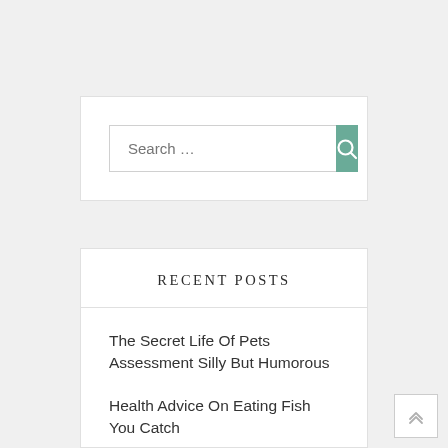[Figure (screenshot): Search bar widget with text input field showing placeholder 'Search ...' and a teal/green search button with a magnifying glass icon]
RECENT POSTS
The Secret Life Of Pets Assessment Silly But Humorous
Health Advice On Eating Fish You Catch